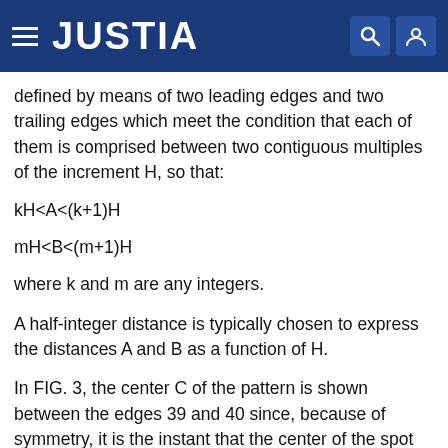JUSTIA
defined by means of two leading edges and two trailing edges which meet the condition that each of them is comprised between two contiguous multiples of the increment H, so that:
where k and m are any integers.
A half-integer distance is typically chosen to express the distances A and B as a function of H.
In FIG. 3, the center C of the pattern is shown between the edges 39 and 40 since, because of symmetry, it is the instant that the center of the spot and the center C have the same abscissa which gives the surest indication for